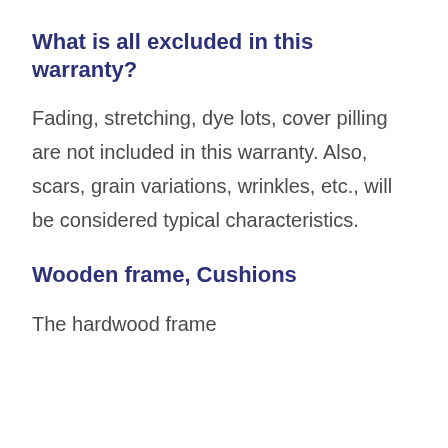What is all excluded in this warranty?
Fading, stretching, dye lots, cover pilling are not included in this warranty. Also, scars, grain variations, wrinkles, etc., will be considered typical characteristics.
Wooden frame, Cushions
The hardwood frame